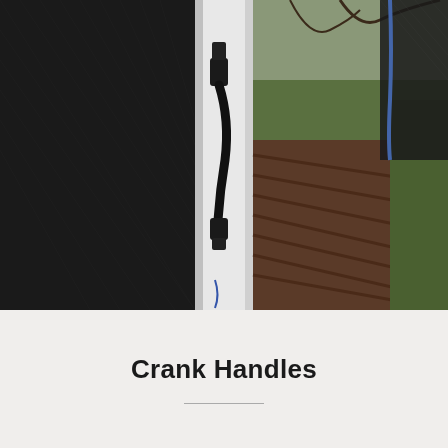[Figure (photo): Close-up photograph of a black crank handle mechanism mounted on a white door or window frame, with dark mesh screen on left and right sides, and a wooden deck and green lawn visible in the background through the opening.]
Crank Handles